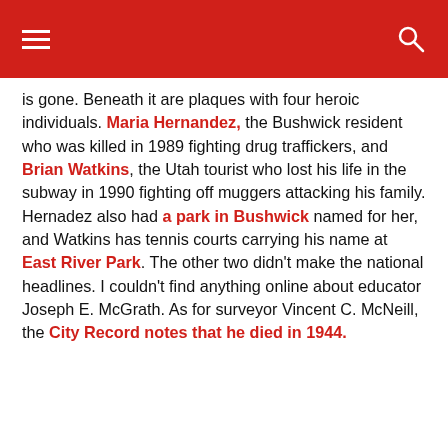Navigation header with hamburger menu and search icon
is gone. Beneath it are plaques with four heroic individuals. Maria Hernandez, the Bushwick resident who was killed in 1989 fighting drug traffickers, and Brian Watkins, the Utah tourist who lost his life in the subway in 1990 fighting off muggers attacking his family. Hernadez also had a park in Bushwick named for her, and Watkins has tennis courts carrying his name at East River Park. The other two didn't make the national headlines. I couldn't find anything online about educator Joseph E. McGrath. As for surveyor Vincent C. McNeill, the City Record notes that he died in 1944.
[Figure (photo): Partial photo strip of an outdoor urban scene with trees and buildings]
[Figure (photo): Advertisement thumbnail showing a food/drink item in a bowl surrounded by green leaves]
Recommend: This Diabetes Treatment Will
n/a